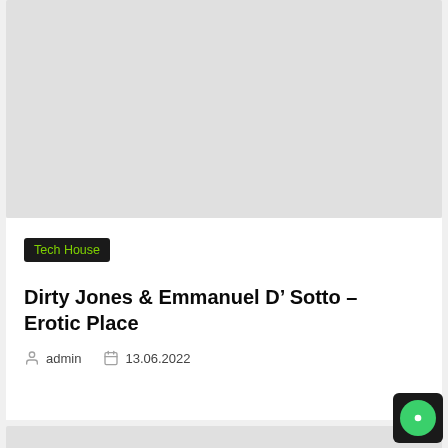[Figure (photo): Gray placeholder image block at top of card]
Tech House
Dirty Jones & Emmanuel D' Sotto – Erotic Place
admin   13.06.2022
[Figure (photo): Gray placeholder image block at bottom of page]
[Figure (other): Green circular chat/support button icon in black square, bottom right corner]